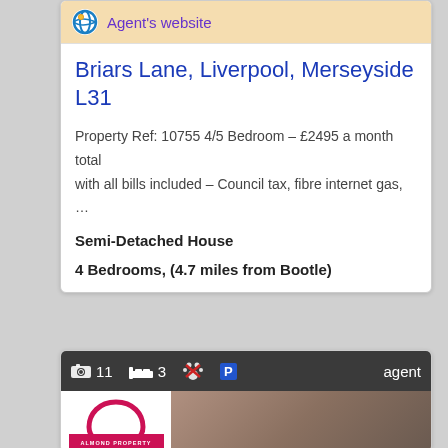Agent's website
Briars Lane, Liverpool, Merseyside L31
Property Ref: 10755 4/5 Bedroom – £2495 a month total with all bills included – Council tax, fibre internet gas, …
Semi-Detached House
4 Bedrooms, (4.7 miles from Bootle)
[Figure (screenshot): Bottom property card showing Almond Property logo, icons for 11 photos, 3 beds, pets allowed, parking, and agent label]